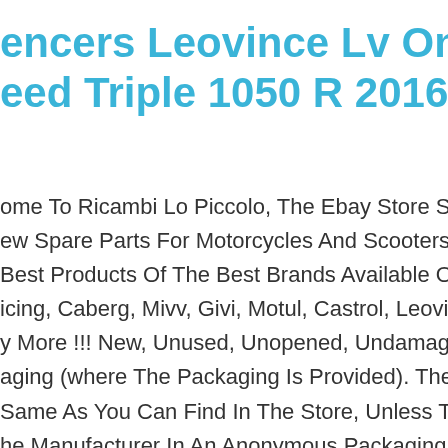encers Leovince Lv One Evo Triumph Speed Triple 1050 R 2016 Carbon
ome To Ricambi Lo Piccolo, The Ebay Store Specializing In The S ew Spare Parts For Motorcycles And Scooters. Here You Can Fin Best Products Of The Best Brands Available On The Market icing, Caberg, Mivv, Givi, Motul, Castrol, Leovince, Did, Brembo A y More !!! New, Unused, Unopened, Undamaged Item In The Orig aging (where The Packaging Is Provided). The Packaging Must B Same As You Can Find In The Store, Unless The Item Was Packa he Manufacturer In An Anonymous Packaging, Such As A Plastic Box Without Printing. For More Details See The Ad. We Do Not l Products New, Unused, Unopened, Undamaged Item In The nal Packaging (where The Packaging Is Provided). The Packaging : Be The Same As You Can Find In The Store, Unless.